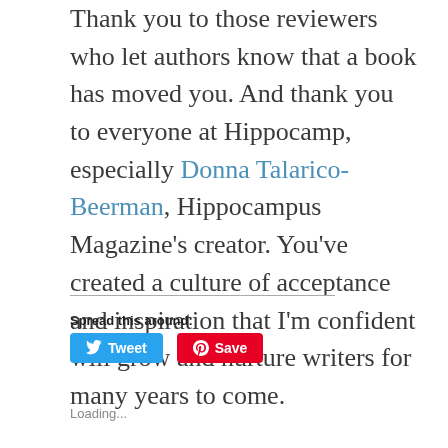Thank you to those reviewers who let authors know that a book has moved you. And thank you to everyone at Hippocamp, especially Donna Talarico-Beerman, Hippocampus Magazine’s creator. You’ve created a culture of acceptance and inspiration that I’m confident will grow and nurture writers for many years to come.
Spread this around:
Tweet
Save
Loading...